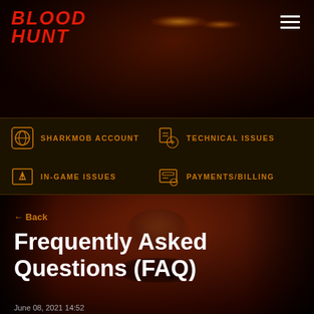[Figure (screenshot): Blood Hunt game website header with dark red moody background, glowing eyes visible in darkness]
BLOOD HUNT
SHARKMOB ACCOUNT
TECHNICAL ISSUES
IN-GAME ISSUES
PAYMENTS/BILLING
[Figure (photo): Close-up of vampire face in dark red lighting, showing nose and lips with fangs]
← Back
Frequently Asked Questions (FAQ)
June 08, 2021 14:52